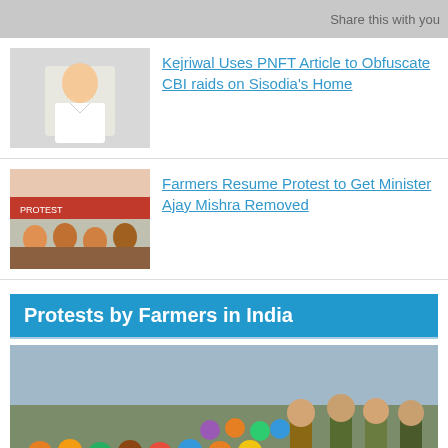Share this with you
Kejriwal Uses PNFT Article to Obfuscate CBI raids on Sisodia's Home
Farmers Resume Protest to Get Minister Ajay Mishra Removed
Protests by Farmers in India
[Figure (photo): Large crowd of farmers sitting/standing, some in colorful turbans and masks, with police officers standing nearby]